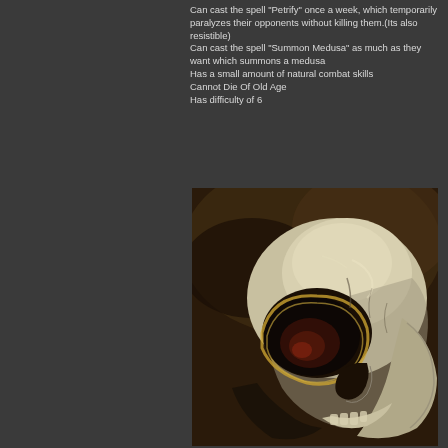Can cast the spell "Petrify" once a week, which temporarily paralyzes their opponents without killing them.(Its also resistible)
Can cast the spell "Summon Medusa" as much as they want which summons a medusa
Has a small amount of natural combat skills
Cannot Die Of Old Age
Has difficulty of 6
[Figure (illustration): A dark fantasy illustration of a large pale skull with hollow eye sockets, positioned at an angle against a dark brownish smoky background. The skull has detailed bone textures with golden/yellow highlights along its ridges.]